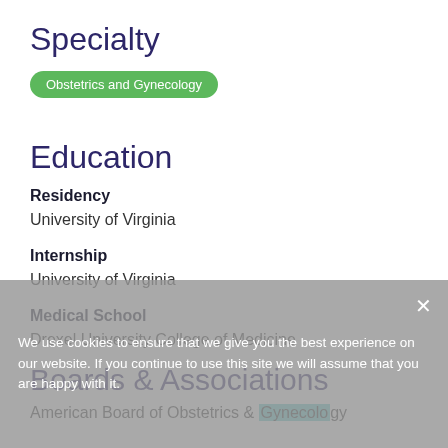Specialty
Obstetrics and Gynecology
Education
Residency
University of Virginia
Internship
University of Virginia
Medical School
Drexel University College of Medicine
Boards & Associations
American Board of Obstetrics & Gynecology
We use cookies to ensure that we give you the best experience on our website. If you continue to use this site we will assume that you are happy with it.